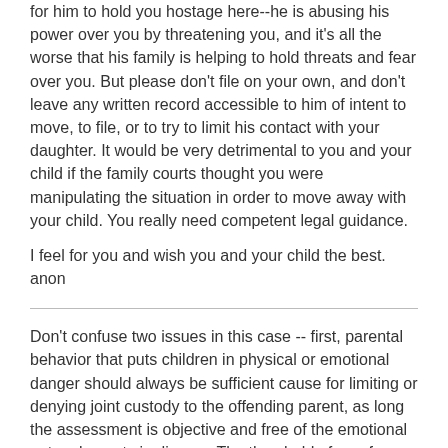for him to hold you hostage here--he is abusing his power over you by threatening you, and it's all the worse that his family is helping to hold threats and fear over you. But please don't file on your own, and don't leave any written record accessible to him of intent to move, to file, or to try to limit his contact with your daughter. It would be very detrimental to you and your child if the family courts thought you were manipulating the situation in order to move away with your child. You really need competent legal guidance.
I feel for you and wish you and your child the best. anon
Don't confuse two issues in this case -- first, parental behavior that puts children in physical or emotional danger should always be sufficient cause for limiting or denying joint custody to the offending parent, as long the assessment is objective and free of the emotional entanglements in divorce. The threshold of proof should be objective, but not insurmountably high where the interests of children are truly at stake.
The second issue is the perception of inequal treatment of fathers and mothers by family courts and the mediators who